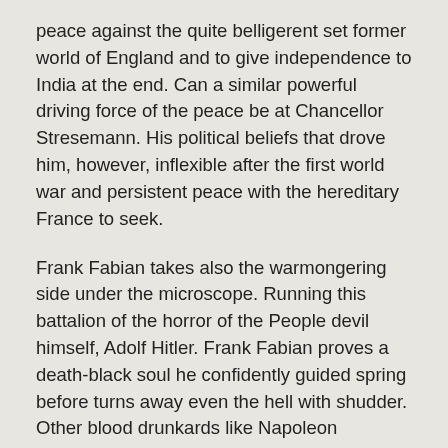peace against the quite belligerent set former world of England and to give independence to India at the end. Can a similar powerful driving force of the peace be at Chancellor Stresemann. His political beliefs that drove him, however, inflexible after the first world war and persistent peace with the hereditary France to seek.
Frank Fabian takes also the warmongering side under the microscope. Running this battalion of the horror of the People devil himself, Adolf Hitler. Frank Fabian proves a death-black soul he confidently guided spring before turns away even the hell with shudder. Other blood drunkards like Napoleon Bonaparte, Attila Prince Timur Lenk, or ex-President George W. Bush are relentlessly exposed by Frank Fabian as Stirrups for the four horsemen named war.